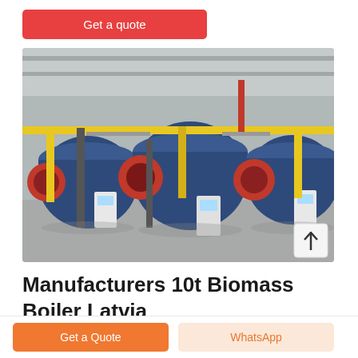Get a quote
[Figure (photo): Industrial boiler room with three large dark blue cylindrical biomass boilers mounted on the floor, yellow overhead pipes/conduits, red safety pipes, and control panels beside each boiler. Concrete floor, industrial ceiling structure visible.]
Manufacturers 10t Biomass Boiler Latvia
Get a Quote
WhatsApp